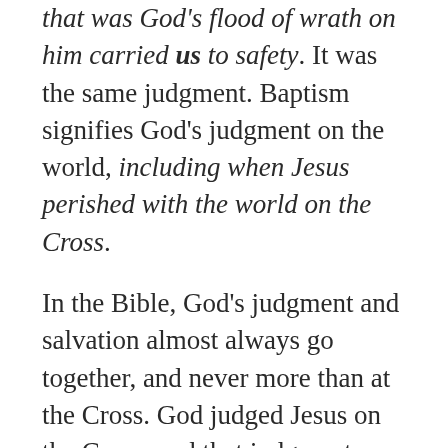that was God's flood of wrath on him carried us to safety. It was the same judgment. Baptism signifies God's judgment on the world, including when Jesus perished with the world on the Cross.
In the Bible, God's judgment and salvation almost always go together, and never more than at the Cross. God judged Jesus on the Cross, and that judgment brought us salvation — just like the floodwaters that judged Noah's contemporaries